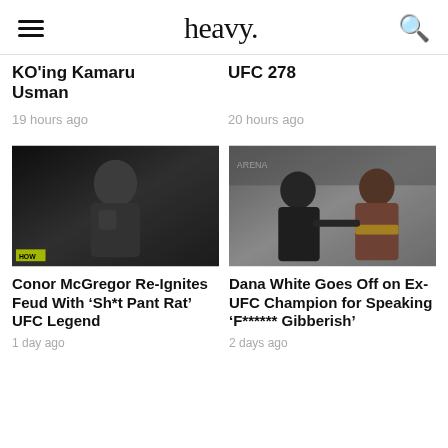heavy.
KO'ing Kamaru Usman
19 hours ago
UFC 278
20 hours ago
[Figure (photo): Conor McGregor shirtless, looking stern, with tattoos visible, standing in an arena with a yellow HOW sign in background]
Conor McGregor Re-Ignites Feud With 'Sh*t Pant Rat' UFC Legend
1 day ago
[Figure (photo): Dana White in dark shirt separating or engaging with a man in a suit holding a UFC championship belt, at an event backdrop]
Dana White Goes Off on Ex-UFC Champion for Speaking 'F****** Gibberish'
2 days ago